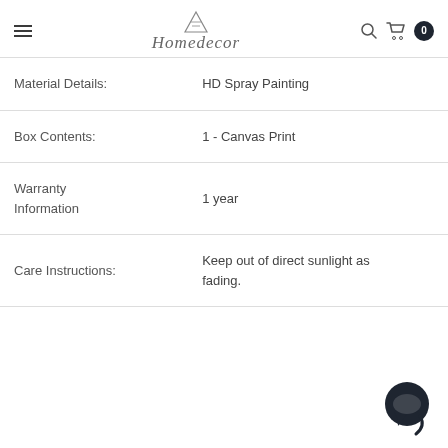Homedecor — hamburger menu, search icon, cart with 0 items
| Material Details: | HD Spray Painting |
| Box Contents: | 1 - Canvas Print |
| Warranty Information | 1 year |
| Care Instructions: | Keep out of direct sunlight as fading. |
[Figure (other): Dark navy circular chat widget icon in bottom right corner]